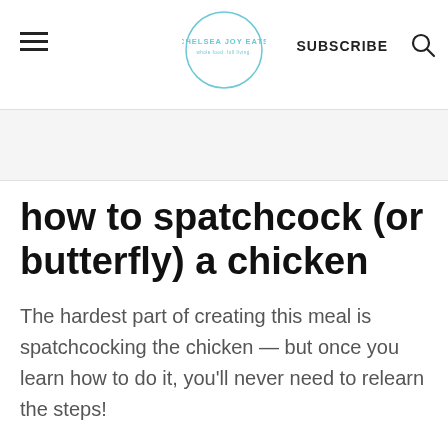Chelsea Joy Eats — SUBSCRIBE
how to spatchcock (or butterfly) a chicken
The hardest part of creating this meal is spatchcocking the chicken — but once you learn how to do it, you'll never need to relearn the steps!